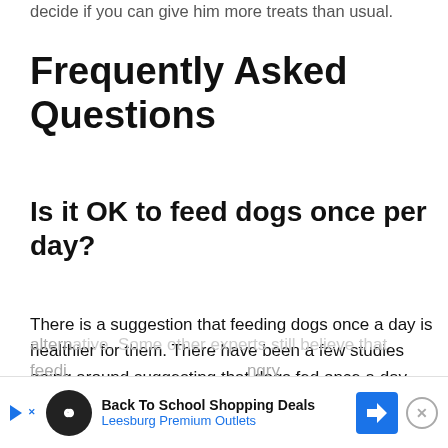decide if you can give him more treats than usual.
Frequently Asked Questions
Is it OK to feed dogs once per day?
There is a suggestion that feeding dogs once a day is healthier for them. There have been a few studies going around suggesting that dogs fed once a day have better cognitive function than the alternative. Some other experts still believe that feedi... ngry
[Figure (infographic): Advertisement banner: Back To School Shopping Deals - Leesburg Premium Outlets, with play button, infinity logo, navigation arrow logo, and close button]